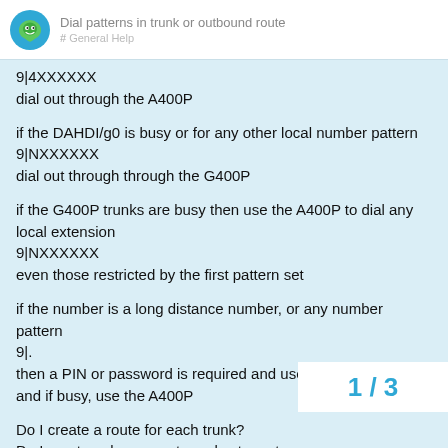Dial patterns in trunk or outbound route
9|4XXXXXX
dial out through the A400P
if the DAHDI/g0 is busy or for any other local number pattern
9|NXXXXXX
dial out through through the G400P
if the G400P trunks are busy then use the A400P to dial any local extension
9|NXXXXXX
even those restricted by the first pattern set
if the number is a long distance number, or any number pattern
9|.
then a PIN or password is required and use the G400P first and if busy, use the A400P
Do I create a route for each trunk?
Do I create only one route and setup a tru
Where do I place the dial patterns, in the r
1 / 3